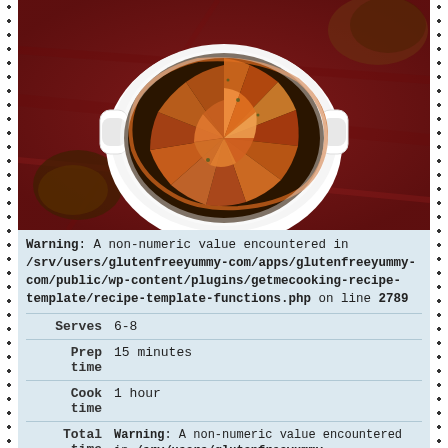[Figure (photo): A dish of spirally arranged roasted vegetable slices (tian/gratin style) in a white ceramic baking dish, placed on a red cloth background]
Warning: A non-numeric value encountered in /srv/users/glutenfreeyummy-com/apps/glutenfreeyummy-com/public/wp-content/plugins/getmecooking-recipe-template/recipe-template-functions.php on line 2789
| Serves | 6-8 |
| Prep time | 15 minutes |
| Cook time | 1 hour |
| Total time | Warning: A non-numeric value encountered in /srv/users/glutenfreeyummy-com/apps/glutenfreeyummy-com/public/wp- |